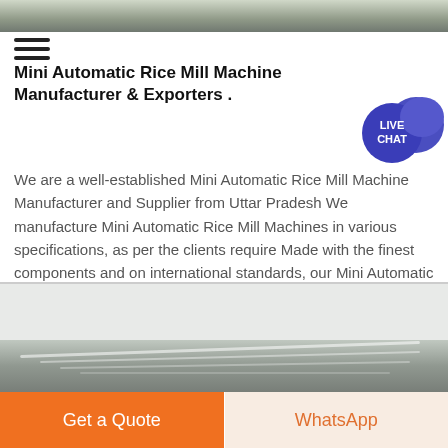[Figure (photo): Top banner photo of industrial machinery]
Mini Automatic Rice Mill Machine Manufacturer & Exporters .
[Figure (infographic): Live Chat bubble icon in dark blue/purple]
We are a well-established Mini Automatic Rice Mill Machine Manufacturer and Supplier from Uttar Pradesh We manufacture Mini Automatic Rice Mill Machines in various specifications, as per the clients require Made with the finest components and on international standards, our Mini Automatic Rice Mill Machines are widely supplied to many rice mills across the country
Chat Online
[Figure (photo): Bottom photo of factory/warehouse interior with ceiling beams and lights]
Get a Quote
WhatsApp